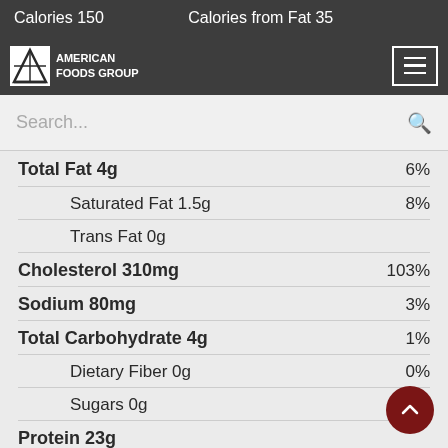Calories 150   Calories from Fat 35
[Figure (logo): American Foods Group logo with star icon]
Search...
Total Fat 4g   6%
Saturated Fat 1.5g   8%
Trans Fat 0g
Cholesterol 310mg   103%
Sodium 80mg   3%
Total Carbohydrate 4g   1%
Dietary Fiber 0g   0%
Sugars 0g
Protein 23g
Vitamin A 380%   Vitamin C 2%